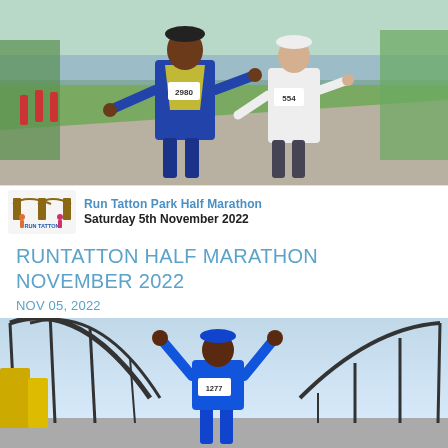[Figure (photo): Runners in a race along a park path; foreground shows a man in yellow/green bib number 2980 giving thumbs up, and a woman in white shirt bib number 554, with other runners behind them in a green outdoor setting.]
Run Tatton Park Half Marathon
Saturday 5th November 2022
RUNTATTON HALF MARATHON NOVEMBER 2022
NOV 05, 2022
[Figure (photo): Runner in blue shirt bib number 1277 celebrating with arms raised in a theme park setting with roller coaster structures visible in the background.]